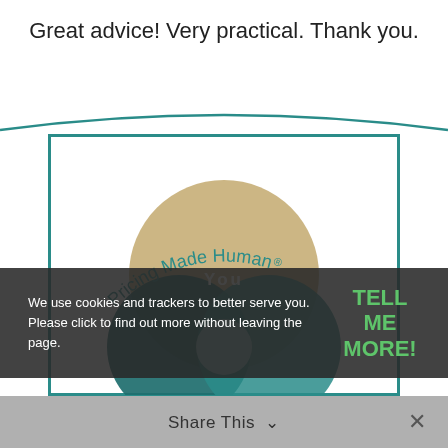Great advice! Very practical. Thank you.
[Figure (logo): Pricing Made Human® logo with overlapping circles diagram showing 'You' text in center, teal and tan/gold circles]
We use cookies and trackers to better serve you. Please click to find out more without leaving the page.
TELL ME MORE!
Share This ∨